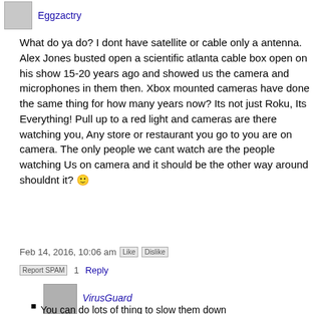Eggzactry
What do ya do? I dont have satellite or cable only a antenna. Alex Jones busted open a scientific atlanta cable box open on his show 15-20 years ago and showed us the camera and microphones in them then. Xbox mounted cameras have done the same thing for how many years now? Its not just Roku, Its Everything! Pull up to a red light and cameras are there watching you, Any store or restaurant you go to you are on camera. The only people we cant watch are the people watching Us on camera and it should be the other way around shouldnt it? 🙂
Feb 14, 2016, 10:06 am [Like] [Dislike]
[Report SPAM]  1   Reply
VirusGuard
You can do lots of thing to slow them down